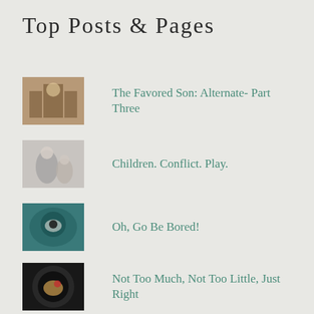Top Posts & Pages
The Favored Son: Alternate- Part Three
Children. Conflict. Play.
Oh, Go Be Bored!
Not Too Much, Not Too Little, Just Right
Let Me Explain This to You
With the Beast